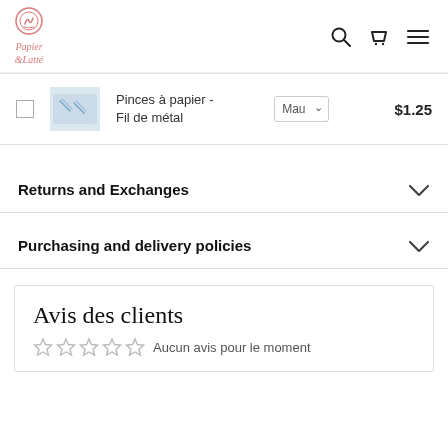Papier & Latté — navigation bar with logo, search, cart, menu icons
|  |  | Product | Variant | Price |
| --- | --- | --- | --- | --- |
| ☐ | [image] | Pinces à papier - Fil de métal | Mau | $1.25 |
Returns and Exchanges
Purchasing and delivery policies
Avis des clients
Aucun avis pour le moment